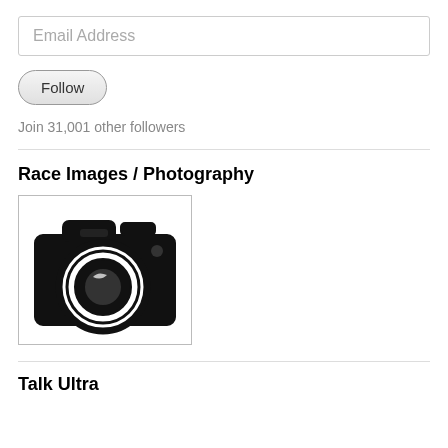Email Address
Follow
Join 31,001 other followers
Race Images / Photography
[Figure (illustration): Black and white camera icon/illustration inside a bordered box]
Talk Ultra